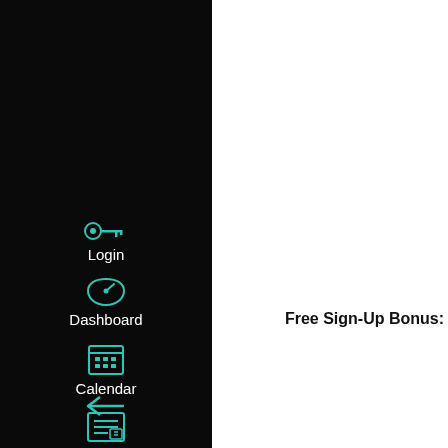[Figure (screenshot): Sidebar navigation with dark background showing Login, Dashboard, Calendar, Inbox icons in teal, and a collapse arrow at the bottom]
Whichbingo
Fab Hosts Casino Night On March 21St - Alfred H. Baumann
Isle Casino Entertainment Fling Lounge, Isle Casino Racing Pompano
Online Mobile Slots No Deposit Bonus - Free Online Casino: Fake
Free Sign-Up Bonus:
First Deposit Bonus: